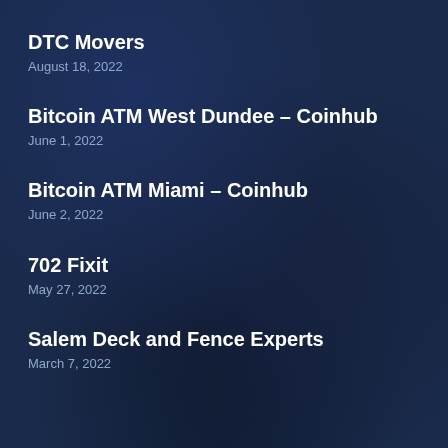DTC Movers
August 18, 2022
Bitcoin ATM West Dundee – Coinhub
June 1, 2022
Bitcoin ATM Miami – Coinhub
June 2, 2022
702 Fixit
May 27, 2022
Salem Deck and Fence Experts
March 7, 2022